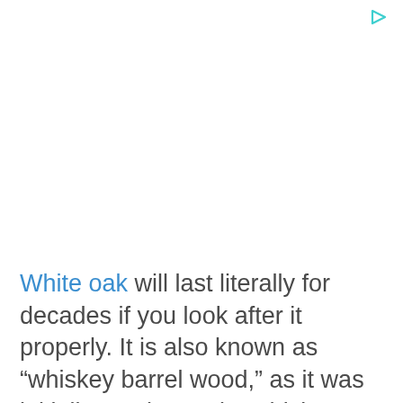[Figure (other): Small cyan play/ad icon triangle in top right corner]
White oak will last literally for decades if you look after it properly. It is also known as “whiskey barrel wood,” as it was initially used to make whiskey barrels. This wood has considerable resistance to rot but needs to be oiled or painted to add to its durability. It shows its grain ver…